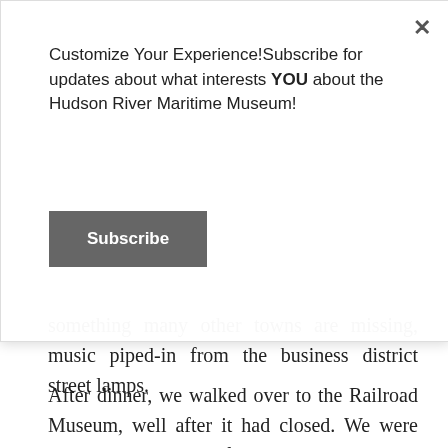Customize Your Experience!Subscribe for updates about what interests YOU about the Hudson River Maritime Museum!
Subscribe
something many other towns are missing, music piped-in from the business district street lamps.
After dinner, we walked over to the Railroad Museum, well after it had closed. We were sorry to miss the 200 foot-long train layout in the New York Central freight house, but enjoyed seeing historic rolling stock on one of the sidings including two big GM diesel locomotives from the early 1950s painted in Twentieth Century Limited livery. We returned to our boat, played Pictionary at the galley table and took serious showers at the transient boater facility a short walk away. Some sprinkles came along at night but none of the